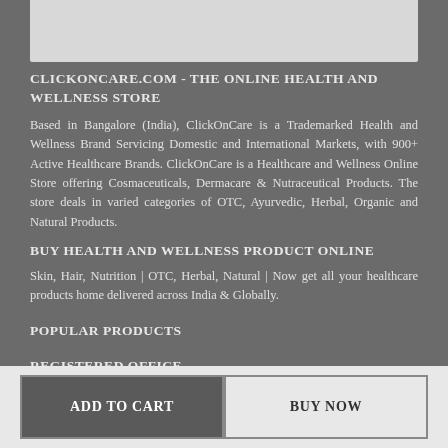[Figure (other): Gray top bar / header image placeholder]
CLICKONCARE.COM - THE ONLINE HEALTH AND WELLNESS STORE
Based in Bangalore (India), ClickOnCare is a Trademarked Health and Wellness Brand Servicing Domestic and International Markets, with 900+ Active Healthcare Brands. ClickOnCare is a Healthcare and Wellness Online Store offering Cosmaceuticals, Dermacare & Nutraceutical Products. The store deals in varied categories of OTC, Ayurvedic, Herbal, Organic and Natural Products.
BUY HEALTH AND WELLNESS PRODUCT ONLINE
Skin, Hair, Nutrition | OTC, Herbal, Natural | Now get all your healthcare products home delivered across India & Globally.
POPULAR PRODUCTS
REGISTERED OFFICE
ClickOnCare Retail Private Limited,
ADD TO CART
BUY NOW